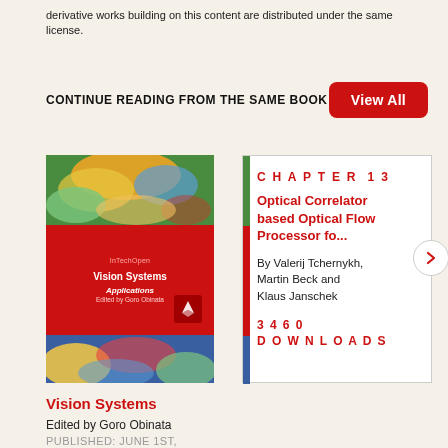derivative works building on this content are distributed under the same license.
CONTINUE READING FROM THE SAME BOOK
[Figure (illustration): Book cover of 'Vision Systems Applications', edited by Goro Obinata, published by InTechOpen. Cover shows colorful abstract imagery with a red middle section containing the title and publisher logo.]
[Figure (infographic): Chapter card showing CHAPTER 13: Optical Correlator based Optical Flow Processor fo... By Valerij Tchernykh, Martin Beck and Klaus Janschek. 3460 DOWNLOADS. With a red right-arrow button.]
Vision Systems
Edited by Goro Obinata
PUBLISHED: JUNE 1ST, 2007